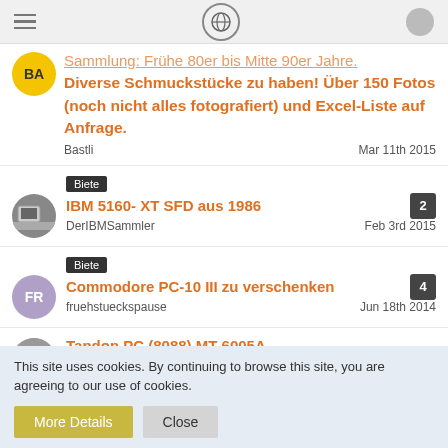Diverse Schmuckstücke zu haben! Über 150 Fotos (noch nicht alles fotografiert) und Excel-Liste auf Anfrage.
Bastli — Mar 11th 2015
Biete
IBM 5160- XT SFD aus 1986
DerIBMSammler — Feb 3rd 2015 — 2 replies
Biete
Commodore PC-10 III zu verschenken
fruehstueckspause — Jun 18th 2014 — 4 replies
Tandon PC (8088) MT-6005A
stynx — May 31st 2013
This site uses cookies. By continuing to browse this site, you are agreeing to our use of cookies.